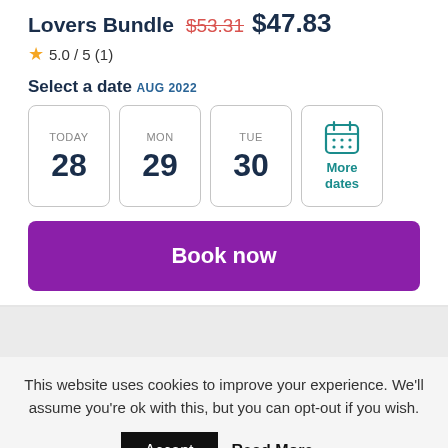Madrid Football Lovers Bundle $53.31 $47.83
★ 5.0 / 5 (1)
Select a date
AUG 2022
TODAY 28 | MON 29 | TUE 30 | More dates
Book now
This website uses cookies to improve your experience. We'll assume you're ok with this, but you can opt-out if you wish.
Accept  Read More